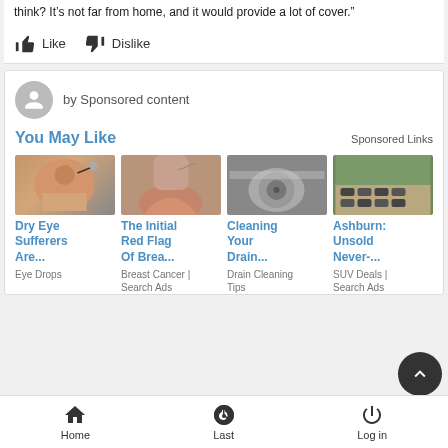think? It's not far from home, and it would provide a lot of cover."
Like  Dislike
by Sponsored content
You May Like
Sponsored Links
[Figure (photo): Woman putting eye drops in her eye]
Dry Eye Sufferers Are...
Eye Drops
[Figure (photo): Pregnant woman's belly]
The Initial Red Flag Of Brea...
Breast Cancer | Search Ads
[Figure (photo): Drain cleaning]
Cleaning Your Drain...
Drain Cleaning Tips
[Figure (photo): Aerial view of cars in a parking lot]
Ashburn: Unsold Never-...
SUV Deals | Search Ads
Home   Last   Log in